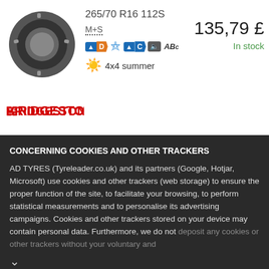[Figure (photo): Tyre product image - grey/black tyre viewed from front angle]
265/70 R16 112S
M+S
[Figure (infographic): EU tyre rating badges: fuel D, wet C, noise icon, ABc noise label]
[Figure (logo): Bridgestone brand logo]
4x4 summer
135,79 £
In stock
CONCERNING COOKIES AND OTHER TRACKERS
AD TYRES (Tyreleader.co.uk) and its partners (Google, Hotjar, Microsoft) use cookies and other trackers (web storage) to ensure the proper function of the site, to facilitate your browsing, to perform statistical measurements and to personalise its advertising campaigns. Cookies and other trackers stored on your device may contain personal data. Furthermore, we do not deposit any cookies or other trackers without your voluntary and
Accept
Customise